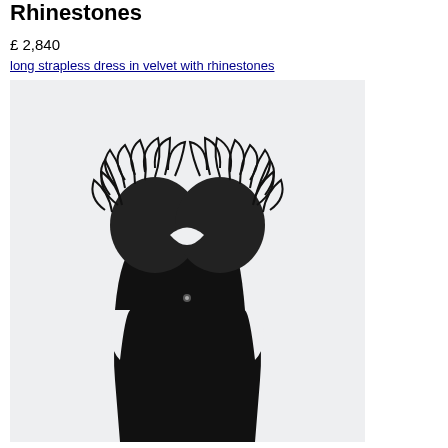Rhinestones
£ 2,840
long strapless dress in velvet with rhinestones
[Figure (photo): Black long strapless dress in velvet with feather/fur trim detail at the shoulders/bust area, photographed on a light grey background]